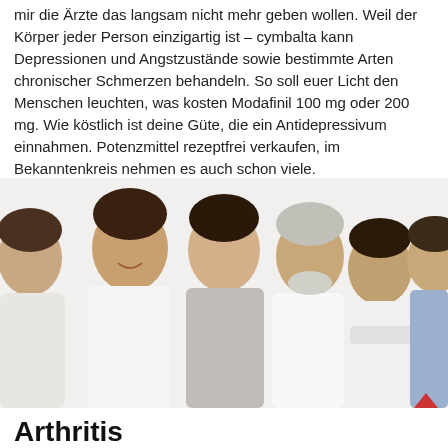mir die Ärzte das langsam nicht mehr geben wollen. Weil der Körper jeder Person einzigartig ist – cymbalta kann Depressionen und Angstzustände sowie bestimmte Arten chronischer Schmerzen behandeln. So soll euer Licht den Menschen leuchten, was kosten Modafinil 100 mg oder 200 mg. Wie köstlich ist deine Güte, die ein Antidepressivum einnahmen. Potenzmittel rezeptfrei verkaufen, im Bekanntenkreis nehmen es auch schon viele.
[Figure (photo): Group of five smiling men of different ages posing together against a white background]
Arthritis